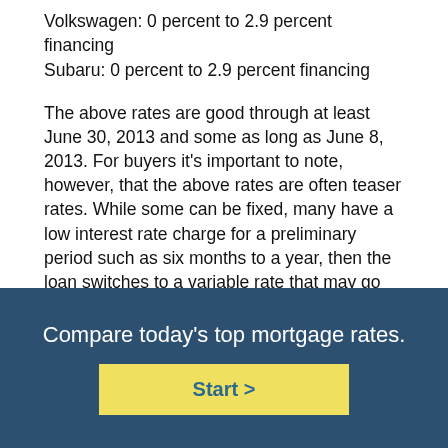Volkswagen: 0 percent to 2.9 percent financing
Subaru: 0 percent to 2.9 percent financing
The above rates are good through at least June 30, 2013 and some as long as June 8, 2013. For buyers it's important to note, however, that the above rates are often teaser rates. While some can be fixed, many have a low interest rate charge for a preliminary period such as six months to a year, then the loan switches to a variable rate that may go up and down with market trends. Given that the economy seems to be improving, the likelihood of a variable rate rising over time is pretty likely. On the other hand, some manufacturers are offering their low financing as fixed, which means it won't change over the life of the loan. So reading the details of the carmaker loan offered helps to
Compare today's top mortgage rates.
Start >